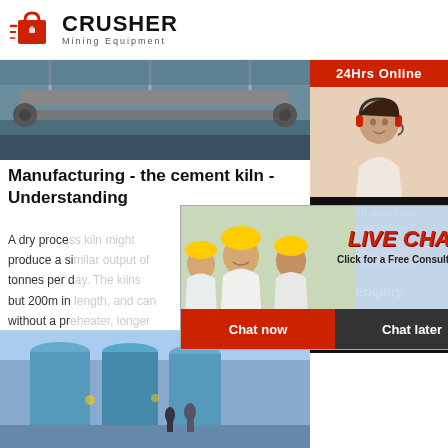[Figure (logo): Crusher Mining Equipment logo with red shopping bag icon and bold CRUSHER text]
[Figure (photo): Industrial conveyor belt or mining equipment, overhead view with metal structures]
Manufacturing - the cement kiln - Understanding
A dry process kiln... produce a si... tonnes per d... but 200m in... without a pr... kiln but longer than a dry process kiln with a ...
Read More
[Figure (photo): Industrial mill equipment - large blue cylindrical grinding mills in a factory]
[Figure (photo): Live Chat popup with workers in hard hats, LIVE CHAT text, Chat now and Chat later buttons]
24Hrs Online
[Figure (photo): Customer service agent with headset smiling]
Need questions & suggestion?
Chat Now
Enquiry
limingjlmofen@sina.com